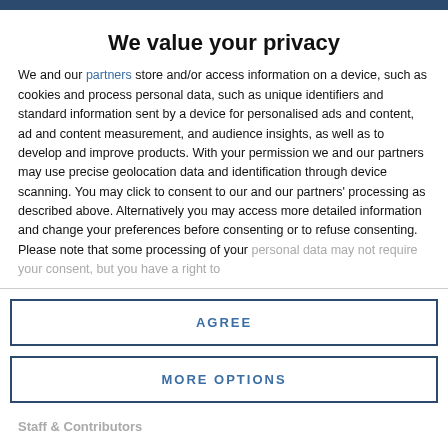We value your privacy
We and our partners store and/or access information on a device, such as cookies and process personal data, such as unique identifiers and standard information sent by a device for personalised ads and content, ad and content measurement, and audience insights, as well as to develop and improve products. With your permission we and our partners may use precise geolocation data and identification through device scanning. You may click to consent to our and our partners' processing as described above. Alternatively you may access more detailed information and change your preferences before consenting or to refuse consenting. Please note that some processing of your personal data may not require your consent, but you have a right to
AGREE
MORE OPTIONS
Staff & Contributors